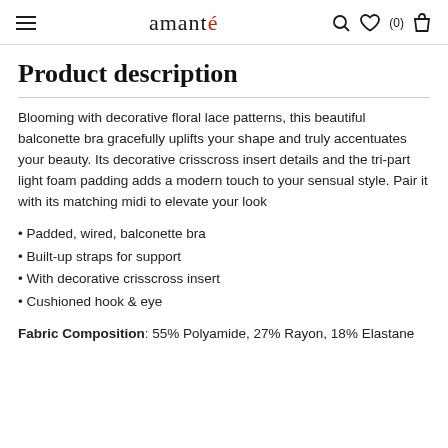amanté
Product description
Blooming with decorative floral lace patterns, this beautiful balconette bra gracefully uplifts your shape and truly accentuates your beauty. Its decorative crisscross insert details and the tri-part light foam padding adds a modern touch to your sensual style. Pair it with its matching midi to elevate your look
Padded, wired, balconette bra
Built-up straps for support
With decorative crisscross insert
Cushioned hook & eye
Fabric Composition: 55% Polyamide, 27% Rayon, 18% Elastane